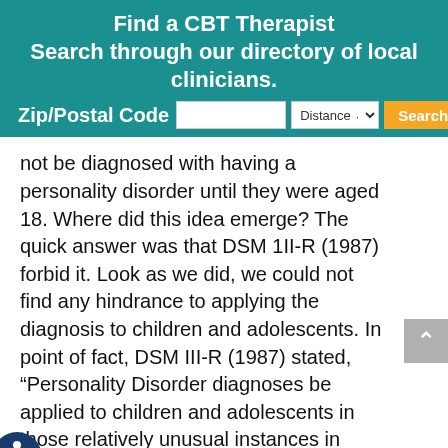Find a CBT Therapist Search through our directory of local clinicians. Zip/Postal Code [input] Distance [dropdown] Search
not be diagnosed with having a personality disorder until they were aged 18. Where did this idea emerge? The quick answer was that DSM 1II-R (1987) forbid it. Look as we did, we could not find any hindrance to applying the diagnosis to children and adolescents. In point of fact, DSM III-R (1987) stated, “Personality Disorder diagnoses be applied to children and adolescents in those relatively unusual instances in